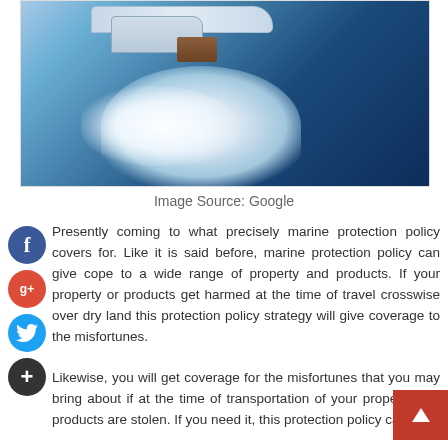[Figure (photo): Aerial view of a motorboat speeding across dark blue water, creating large white foam wake, with white hull and wood-paneled cabin visible from above.]
Image Source:  Google
Presently coming to what precisely marine protection policy covers for. Like it is said before, marine protection policy can give cope to a wide range of property and products. If your property or products get harmed at the time of travel crosswise over dry land this protection policy strategy will give coverage to the misfortunes.
Likewise, you will get coverage for the misfortunes that you may bring about if at the time of transportation of your property and products are stolen. If you need it, this protection policy can